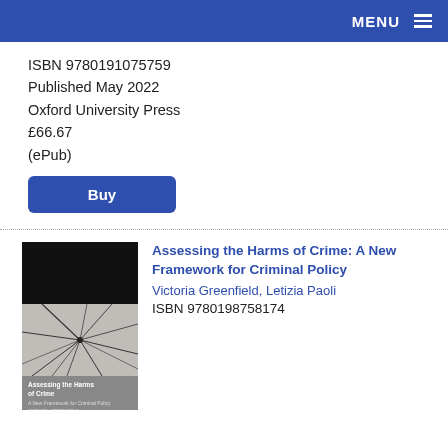MENU
ISBN 9780191075759
Published May 2022
Oxford University Press
£66.67
(ePub)
Buy
[Figure (photo): Book cover of 'Assessing the Harms of Crime: A New Framework for Criminal Policy' by Victoria Greenfield and Letizia Paoli. Cover shows a cracked glass or shattered surface image on black background with grey text area.]
Assessing the Harms of Crime: A New Framework for Criminal Policy
Victoria Greenfield, Letizia Paoli
ISBN 9780198758174